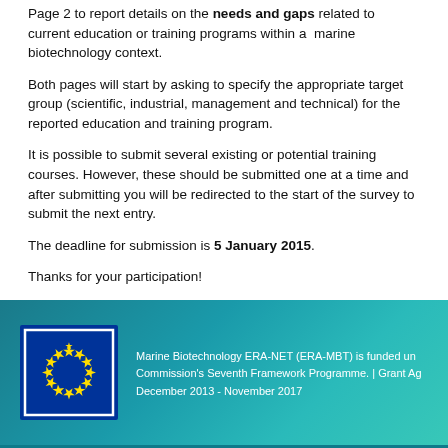Page 2 to report details on the needs and gaps related to current education or training programs within a marine biotechnology context.
Both pages will start by asking to specify the appropriate target group (scientific, industrial, management and technical) for the reported education and training program.
It is possible to submit several existing or potential training courses. However, these should be submitted one at a time and after submitting you will be redirected to the start of the survey to submit the next entry.
The deadline for submission is 5 January 2015.
Thanks for your participation!
Marine Biotechnology ERA-NET (ERA-MBT) is funded under the European Commission's Seventh Framework Programme. | Grant Agreement No. 604814 | December 2013 - November 2017